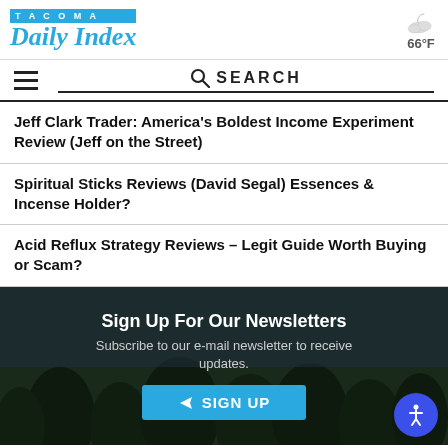TACOMA Daily Index — 66°F
Jeff Clark Trader: America's Boldest Income Experiment Review (Jeff on the Street)
Spiritual Sticks Reviews (David Segal) Essences & Incense Holder?
Acid Reflux Strategy Reviews – Legit Guide Worth Buying or Scam?
[Figure (infographic): Newsletter sign-up section with dark forest background, 'Sign Up For Our Newsletters' heading, subscription text, and a SIGN UP button in cyan/blue.]